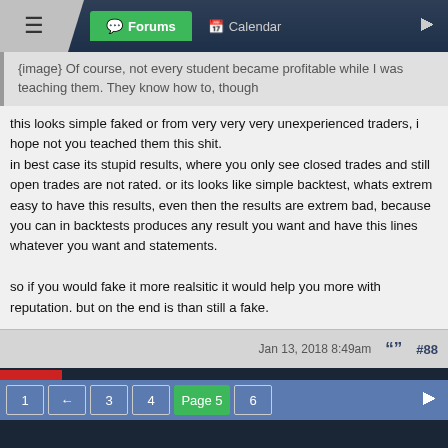Forums | Calendar
{image} Of course, not every student became profitable while I was teaching them. They know how to, though
this looks simple faked or from very very very unexperienced traders, i hope not you teached them this shit.
in best case its stupid results, where you only see closed trades and still open trades are not rated. or its looks like simple backtest, whats extrem easy to have this results, even then the results are extrem bad, because you can in backtests produces any result you want and have this lines whatever you want and statements.

so if you would fake it more realsitic it would help you more with reputation. but on the end is than still a fake.

so as conclusion: when its neccessary for you to open such fake report, something is really wrong with you. and big wrong.
Jan 13, 2018 8:49am  #88
1 ← 3 4 Page 5 6